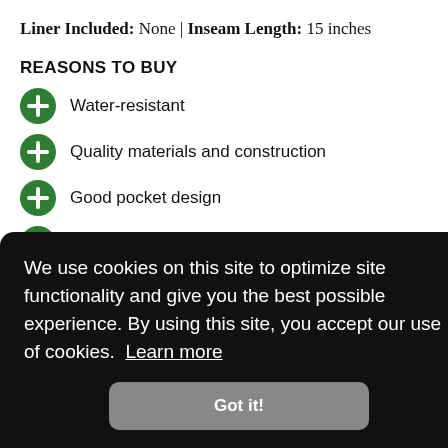Liner Included: None | Inseam Length: 15 inches
REASONS TO BUY
Water-resistant
Quality materials and construction
Good pocket design
Work well with knee pads
[Figure (screenshot): Cookie consent overlay popup with black background, text reading 'We use cookies on this site to optimize site functionality and give you the best possible experience. By using this site, you accept our use of cookies. Learn more' and a 'Got it!' button]
...del made to have more weather resistance than your average